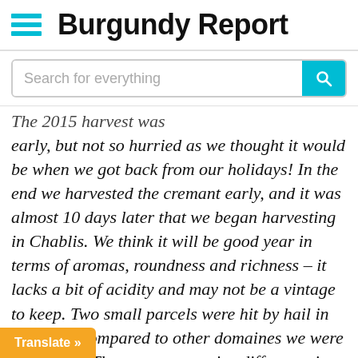Burgundy Report
The 2015 harvest was early, but not so hurried as we thought it would be when we got back from our holidays! In the end we harvested the cremant early, and it was almost 10 days later that we began harvesting in Chablis. We think it will be good year in terms of aromas, roundness and richness – it lacks a bit of acidity and may not be a vintage to keep. Two small parcels were hit by hail in Fleys but compared to other domaines we were very lucky. There was a massive difference in just a few metres; our Mont de Milieu was fine, but the facing Mont de Terre was badly affected. We have … in must, but we were lucky that it